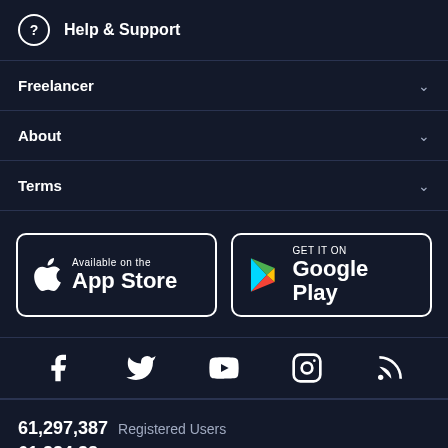Help & Support
Freelancer
About
Terms
[Figure (other): App Store and Google Play download badges]
[Figure (other): Social media icons: Facebook, Twitter, YouTube, Instagram, RSS]
61,297,387 Registered Users